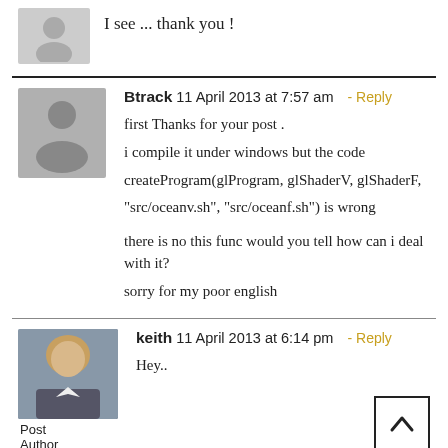I see ... thank you !
Btrack 11 April 2013 at 7:57 am - Reply
first Thanks for your post .
i compile it under windows but the code
createProgram(glProgram, glShaderV, glShaderF,
"src/oceanv.sh", "src/oceanf.sh") is wrong
there is no this func would you tell how can i deal with it?
sorry for my poor english
keith 11 April 2013 at 6:14 pm - Reply
Hey..
Post Author